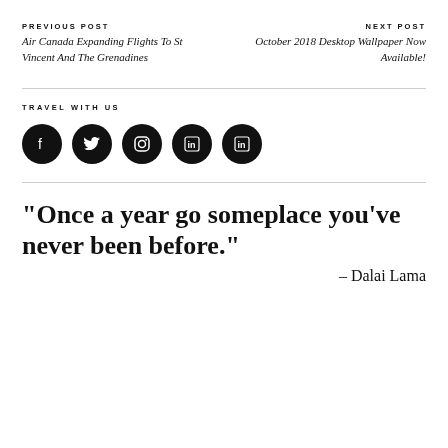PREVIOUS POST
Air Canada Expanding Flights To St Vincent And The Grenadines
NEXT POST
October 2018 Desktop Wallpaper Now Available!
TRAVEL WITH US
[Figure (infographic): Five black circular social media icons: Facebook, Twitter, Instagram, LinkedIn, LinkedIn]
"Once a year go someplace you've never been before."
– Dalai Lama